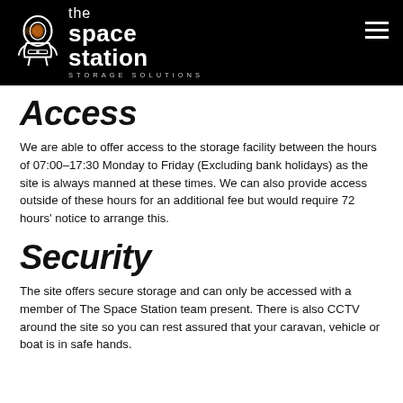the space station STORAGE SOLUTIONS
Access
We are able to offer access to the storage facility between the hours of 07:00–17:30 Monday to Friday (Excluding bank holidays) as the site is always manned at these times. We can also provide access outside of these hours for an additional fee but would require 72 hours' notice to arrange this.
Security
The site offers secure storage and can only be accessed with a member of The Space Station team present. There is also CCTV around the site so you can rest assured that your caravan, vehicle or boat is in safe hands.